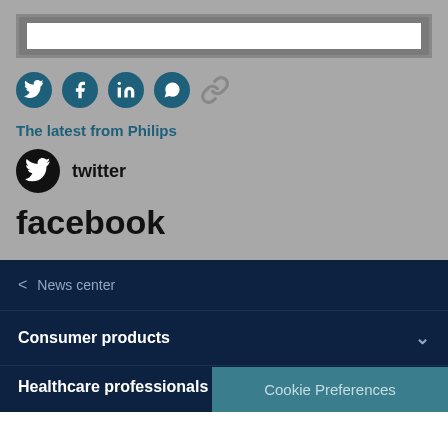[Figure (screenshot): Search bar input field with grey border]
[Figure (infographic): Social share icons: Twitter, Facebook, LinkedIn, WhatsApp, and a link icon — all circular buttons in teal/dark blue, plus a grey chain-link icon]
The latest from Philips
twitter
facebook
< News center
Consumer products
Healthcare professionals
Cookie Preferences